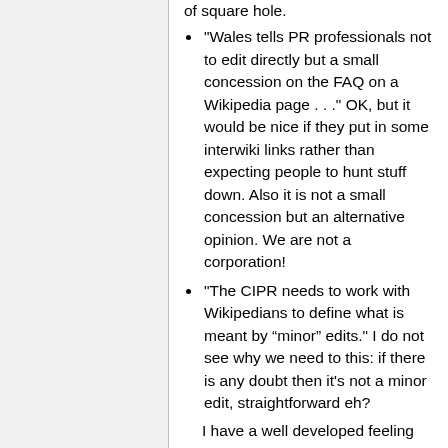of square hole.
"Wales tells PR professionals not to edit directly but a small concession on the FAQ on a Wikipedia page . . ." OK, but it would be nice if they put in some interwiki links rather than expecting people to hunt stuff down. Also it is not a small concession but an alternative opinion. We are not a corporation!
"The CIPR needs to work with Wikipedians to define what is meant by “minor” edits." I do not see why we need to this: if there is any doubt then it's not a minor edit, straightforward eh?
I have a well developed feeling for what constitutes a minor edit. But now you've mentioned it, I have no idea if this aligns with yours. --